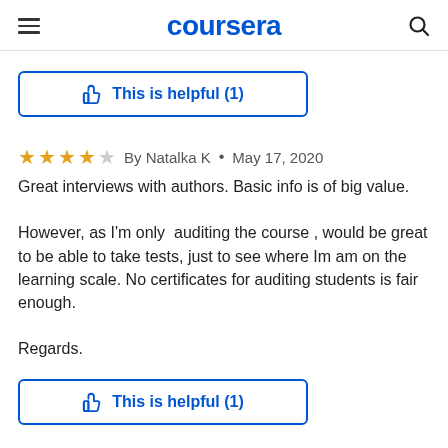coursera
This is helpful (1)
By Natalka K • May 17, 2020
Great interviews with authors. Basic info is of big value.

However, as I'm only auditing the course , would be great to be able to take tests, just to see where Im am on the learning scale. No certificates for auditing students is fair enough.

Regards.
This is helpful (1)
By Teresah T • Oct 10, 2015
Lovely course for historical fiction enthusiast. There's a wonderful reading list required to read as well as multiple